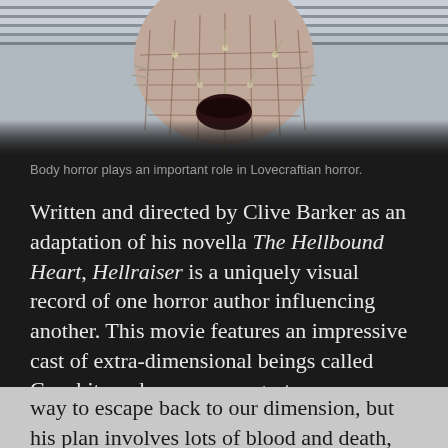[Figure (photo): Close-up photograph of Pinhead from the horror film Hellraiser, a figure with a pale grid-marked face covered in pins/nails, mouth open, with venetian blinds visible in the background.]
Body horror plays an important role in Lovecraftian horror.
Written and directed by Clive Barker as an adaptation of his novella The Hellbound Heart, Hellraiser is a uniquely visual record of one horror author influencing another. This movie features an impressive cast of extra-dimensional beings called Cenobites who appear as grotesque explorers of the most extreme forms of sensation. In search of experiences beyond anything he'd been exposed to before, Frank Cotton summons the Cenobites through a mysterious puzzle box, only to be torn apart and taken to another dimension. Frank finds a way to escape back to our dimension, but his plan involves lots of blood and death, and the Cenobites